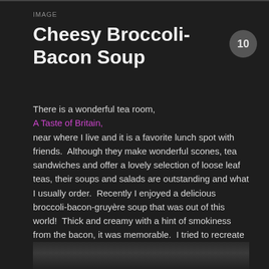IMAGE
Cheesy Broccoli-Bacon Soup
There is a wonderful tea room, A Taste of Britain, near where I live and it is a favorite lunch spot with friends.  Although they make wonderful scones, tea sandwiches and offer a lovely selection of loose leaf teas, their soups and salads are outstanding and what I usually order.  Recently I enjoyed a delicious broccoli-bacon-gruyère soup that was out of this world!  Thick and creamy with a hint of smokiness from the bacon, it was memorable.  I tried to recreate it here.  My version has no cream with the thickness coming from giving the soup a whirl in the blender.  Use a good melting cheese such as gruyère or aged cheddar.  Finish the soup with a sprinkle of fresh herbs and grated cheese.  Soup's on!
[Figure (photo): Photo of Cheesy Broccoli-Bacon Soup at the bottom of the page]